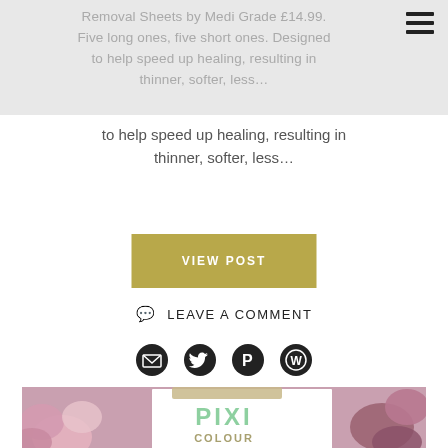Removal Sheets by Medi Grade £14.99. Five long ones, five short ones. Designed to help speed up healing, resulting in thinner, softer, less...
VIEW POST
LEAVE A COMMENT
[Figure (infographic): Social sharing icons: email envelope, Twitter bird, Pinterest P, WordPress logo]
[Figure (photo): Photo of pink flowers with a white card showing 'PIXI COLOUR CORRECTING' text in green and khaki lettering, with a tan tape strip at top]